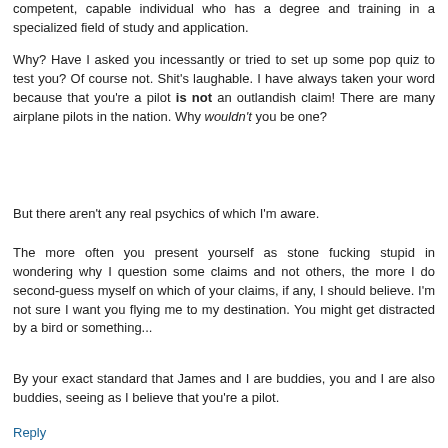competent, capable individual who has a degree and training in a specialized field of study and application.
Why? Have I asked you incessantly or tried to set up some pop quiz to test you? Of course not. Shit's laughable. I have always taken your word because that you're a pilot is not an outlandish claim! There are many airplane pilots in the nation. Why wouldn't you be one?
But there aren't any real psychics of which I'm aware.
The more often you present yourself as stone fucking stupid in wondering why I question some claims and not others, the more I do second-guess myself on which of your claims, if any, I should believe. I'm not sure I want you flying me to my destination. You might get distracted by a bird or something...
By your exact standard that James and I are buddies, you and I are also buddies, seeing as I believe that you're a pilot.
Reply